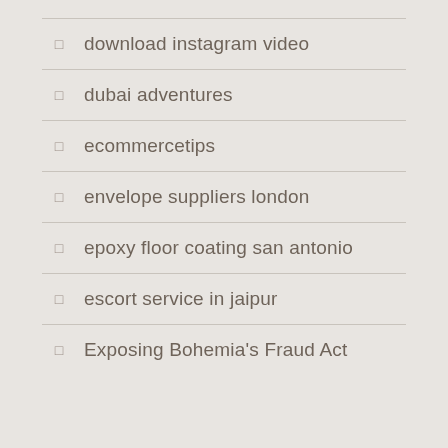download instagram video
dubai adventures
ecommercetips
envelope suppliers london
epoxy floor coating san antonio
escort service in jaipur
Exposing Bohemia's Fraud Act